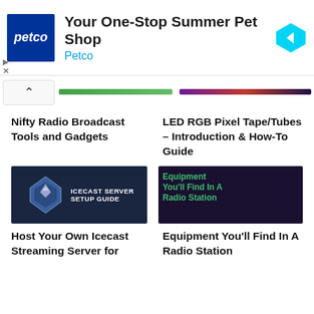[Figure (screenshot): Petco advertisement banner: blue Petco logo, headline 'Your One-Stop Summer Pet Shop', subtext 'Petco', navigation arrow icon on right]
[Figure (screenshot): Slider/carousel navigation bar with chevron up button and green and dark gradient bars]
Nifty Radio Broadcast Tools and Gadgets
LED RGB Pixel Tape/Tubes – Introduction & How-To Guide
[Figure (screenshot): Thumbnail for Icecast server setup guide - dark blue background with diamond logo and text ICECAST SERVER SETUP GUIDE]
[Figure (screenshot): Thumbnail for Equipment You'll Find In A Radio Station - dark purple background with green and orange glowing text]
Host Your Own Icecast Streaming Server for
Equipment You'll Find In A Radio Station